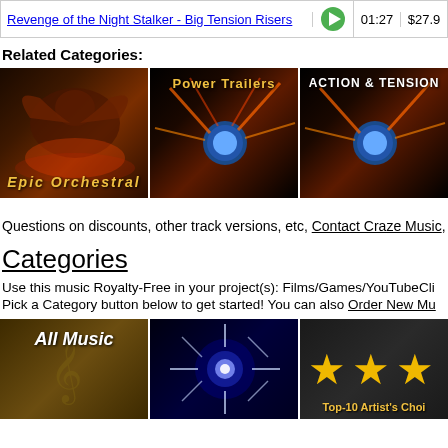| Track | Play | Duration | Price |
| --- | --- | --- | --- |
| Revenge of the Night Stalker - Big Tension Risers | ▶ | 01:27 | $27.9 |
Related Categories:
[Figure (photo): Three category thumbnails: Epic Orchestral (dragon fantasy art), Power Trailers (earth with light beams), Action & Tension (earth with light beams)]
Questions on discounts, other track versions, etc, Contact Craze Music,
Categories
Use this music Royalty-Free in your project(s): Films/Games/YouTubeCli...
Pick a Category button below to get started! You can also Order New Mu...
[Figure (photo): Three category thumbnails: All Music (music notes background), Latest Tracks (lightning), Top-10 Artist's Choice (gold stars)]